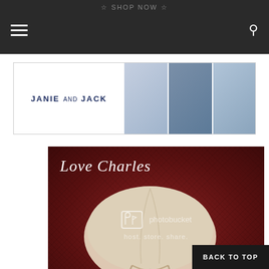SHOP NOW
[Figure (photo): Janie and Jack advertisement banner showing children in clothing with SHOP NOW button]
[Figure (photo): Product photo labeled 'Love Charles' showing a vintage beige/tan hat on a dark red herringbone fabric background, with Photobucket watermark and 'Vintag...' text at bottom]
BACK TO TOP